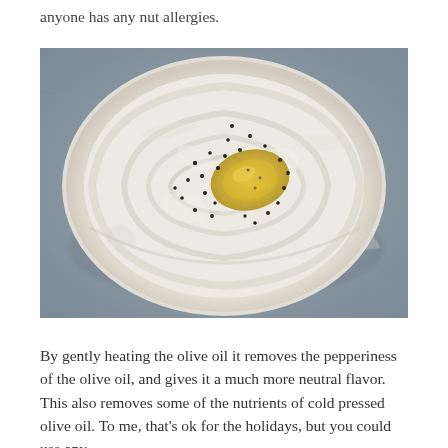anyone has any nut allergies.
[Figure (photo): Overhead view of a white bowl containing creamy white mashed or whipped food (likely hummus or mashed potatoes) with a swirl pattern on top, drizzled with golden olive oil in the center and sprinkled with black pepper. The bowl sits on a gray stone surface.]
By gently heating the olive oil it removes the pepperiness of the olive oil, and gives it a much more neutral flavor. This also removes some of the nutrients of cold pressed olive oil. To me, that's ok for the holidays, but you could use any